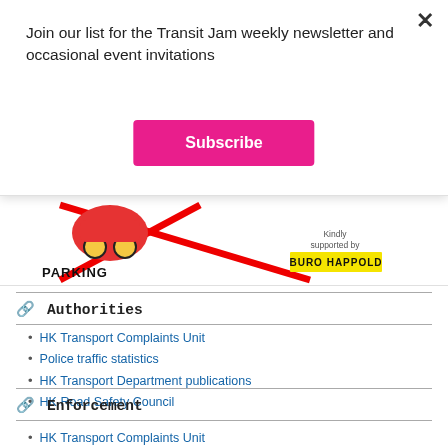Join our list for the Transit Jam weekly newsletter and occasional event invitations
[Figure (other): Subscribe button (pink/magenta) with white bold text]
[Figure (illustration): Partial image showing a parking cartoon illustration with a red X and 'PARKING' text, and a 'Kindly supported by BURO HAPPOLD' logo on the right]
Authorities
HK Transport Complaints Unit
Police traffic statistics
HK Transport Department publications
HK Road Safety Council
Enforcement
HK Transport Complaints Unit
HK Police e-report